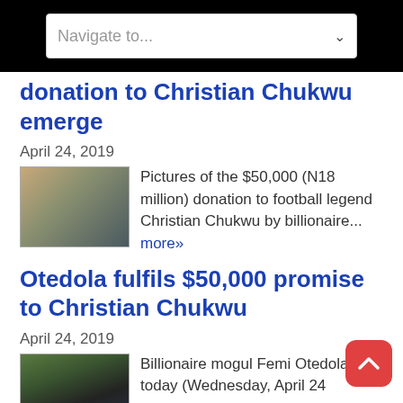Navigate to...
donation to Christian Chukwu emerge
April 24, 2019
[Figure (photo): Group photo of men including Christian Chukwu]
Pictures of the $50,000 (N18 million) donation to football legend Christian Chukwu by billionaire... more»
Otedola fulfils $50,000 promise to Christian Chukwu
April 24, 2019
[Figure (photo): Photo of Femi Otedola related to Christian Chukwu story]
Billionaire mogul Femi Otedola today (Wednesday, April 24